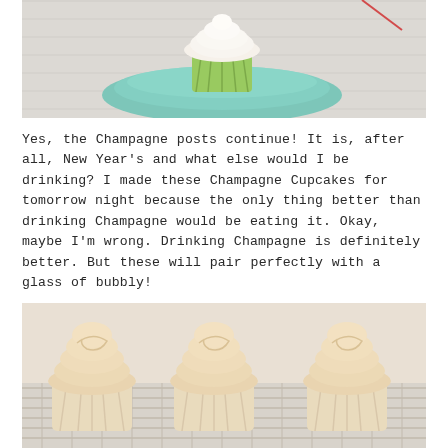[Figure (photo): A cupcake in a green foil wrapper on a teal/mint green plate on a white wood surface, with a hand holding something in the background]
Yes, the Champagne posts continue! It is, after all, New Year's and what else would I be drinking? I made these Champagne Cupcakes for tomorrow night because the only thing better than drinking Champagne would be eating it. Okay, maybe I'm wrong. Drinking Champagne is definitely better. But these will pair perfectly with a glass of bubbly!
[Figure (photo): Three champagne cupcakes with swirled frosting on a wire cooling rack]